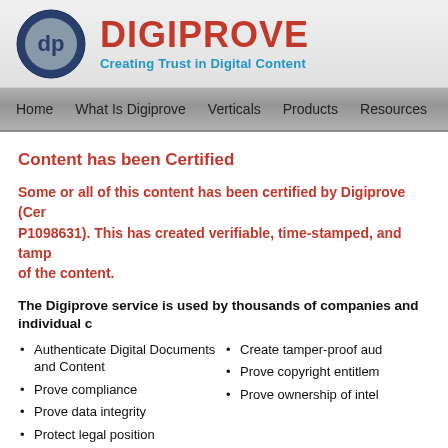[Figure (logo): Digiprove logo: circular emblem with 'dp' letters in dark blue/grey, alongside red bold text 'DIGIPROVE' and blue italic tagline 'Creating Trust in Digital Content']
Home  What Is Digiprove  Verticals  Products  Resources  Pricing
Content has been Certified
Some or all of this content has been certified by Digiprove (Certificate number P1098631). This has created verifiable, time-stamped, and tamper-proof records of the content.
The Digiprove service is used by thousands of companies and individual
Authenticate Digital Documents and Content
Prove compliance
Prove data integrity
Protect legal position
Create tamper-proof aud
Prove copyright entitlem
Prove ownership of intel